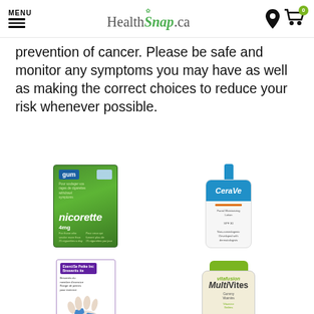MENU | HealthSnap.ca | [location icon] [cart icon with 0]
prevention of cancer. Please be safe and monitor any symptoms you may have as well as making the correct choices to reduce your risk whenever possible.
[Figure (photo): Nicorette gum 4mg green box product image]
[Figure (photo): CeraVe lotion pump bottle product image]
[Figure (photo): Exercise patch box product image with hand applying patch]
[Figure (photo): Vitafusion MultiVites gummy vitamins bottle with green cap]